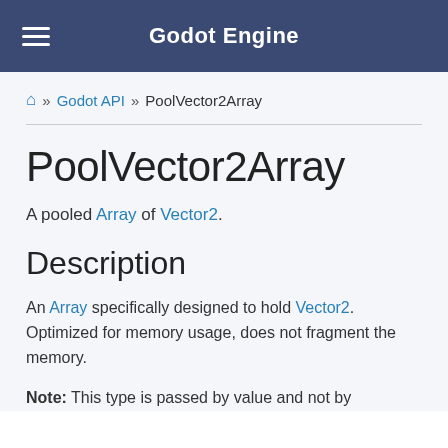Godot Engine
🏠 » Godot API » PoolVector2Array
PoolVector2Array
A pooled Array of Vector2.
Description
An Array specifically designed to hold Vector2. Optimized for memory usage, does not fragment the memory.
Note: This type is passed by value and not by